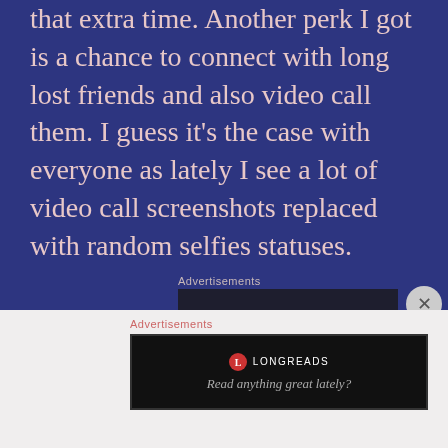that extra time. Another perk I got is a chance to connect with long lost friends and also video call them. I guess it's the case with everyone as lately I see a lot of video call screenshots replaced with random selfies statuses.
Advertisements
[Figure (screenshot): Advertisement banner: dark background with teal text reading 'Turn your blog into a money-making online course.' with a teal button and a close (X) button]
Advertisements
[Figure (screenshot): Longreads advertisement: black background with Longreads logo and tagline 'Read anything great lately?']